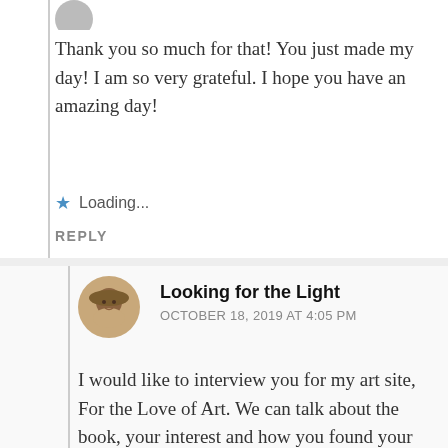Thank you so much for that! You just made my day! I am so very grateful. I hope you have an amazing day!
★ Loading...
REPLY
Looking for the Light
OCTOBER 18, 2019 AT 4:05 PM
I would like to interview you for my art site, For the Love of Art. We can talk about the book, your interest and how you found your way to pottery. My email is msandorm@icloud.com, please email me if you